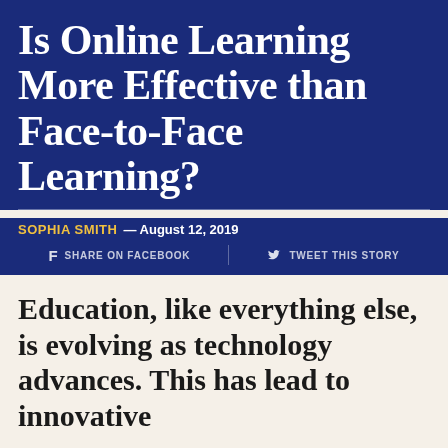Is Online Learning More Effective than Face-to-Face Learning?
SOPHIA SMITH — August 12, 2019
f SHARE ON FACEBOOK   🐦 TWEET THIS STORY
Education, like everything else, is evolving as technology advances. This has lead to innovative